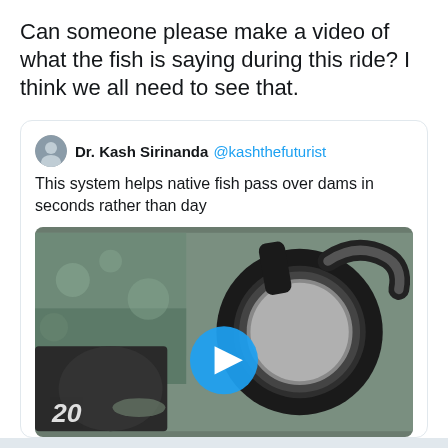Can someone please make a video of what the fish is saying during this ride? I think we all need to see that.
[Figure (screenshot): Embedded tweet by Dr. Kash Sirinanda (@kashthefuturist) saying 'This system helps native fish pass over dams in seconds rather than day', with a video thumbnail showing a large pipe/tube over water with a fish and a person's hand visible, and a blue play button overlay.]